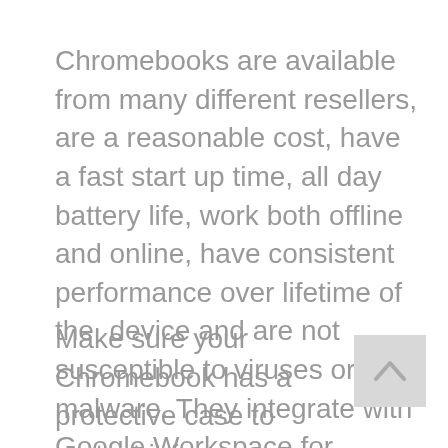Chromebooks are available from many different resellers, are a reasonable cost, have a fast start up time, all day battery life, work both offline and online, have consistent performance over lifetime of the device and are not susceptible to viruses or malware. They integrate with Google Workspace for Education which is our main learning platform and are also able to use Microsoft 365 cloud applications.
Make sure your Chromebook has a protective case to protect it from accidental damage.